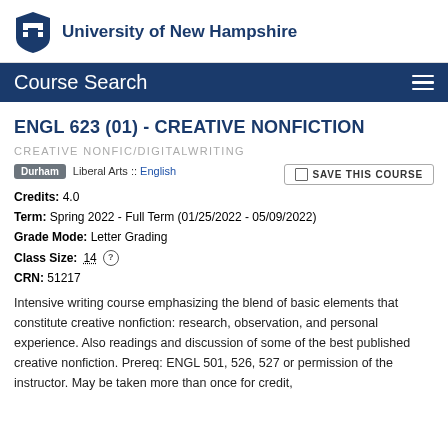University of New Hampshire
Course Search
ENGL 623 (01) - CREATIVE NONFICTION
CREATIVE NONFIC/DIGITALWRITING
Durham  Liberal Arts :: English
SAVE THIS COURSE
Credits: 4.0
Term: Spring 2022 - Full Term (01/25/2022 - 05/09/2022)
Grade Mode: Letter Grading
Class Size: 14
CRN: 51217
Intensive writing course emphasizing the blend of basic elements that constitute creative nonfiction: research, observation, and personal experience. Also readings and discussion of some of the best published creative nonfiction. Prereq: ENGL 501, 526, 527 or permission of the instructor. May be taken more than once for credit,